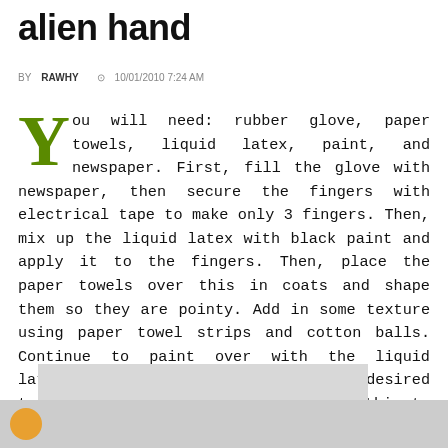alien hand
BY RAWHY  10/01/2010 7:24 AM
You will need: rubber glove, paper towels, liquid latex, paint, and newspaper. First, fill the glove with newspaper, then secure the fingers with electrical tape to make only 3 fingers. Then, mix up the liquid latex with black paint and apply it to the fingers. Then, place the paper towels over this in coats and shape them so they are pointy. Add in some texture using paper towel strips and cotton balls. Continue to paint over with the liquid latex/paint until you have made your desired texture to the entire hand. Wait for this to dry, then add some baby powder and finish the bottom. Add some green powder to the bottom, then wait to dry and you're finished!